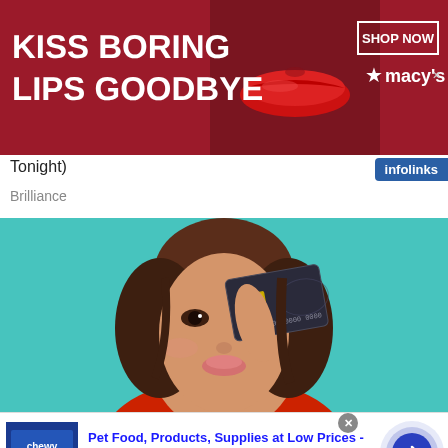[Figure (photo): Macy's advertisement banner: red background with large white text 'KISS BORING LIPS GOODBYE', a woman's lips with red lipstick in center, and 'SHOP NOW' button with Macy's star logo on right]
Tonight)
Brilliance
[Figure (photo): Woman with brown hair holding a dark credit card over her eye on a teal/turquoise background, wearing a red top, with an infolinks badge at the bottom left]
[Figure (photo): Chewy.com advertisement: 'Pet Food, Products, Supplies at Low Prices -' headline in blue, description 'Pay the lowest prices on pet supplies at Chewy.com', with chewy.com URL in green, thumbnail image on left, and navigation arrow button on right]